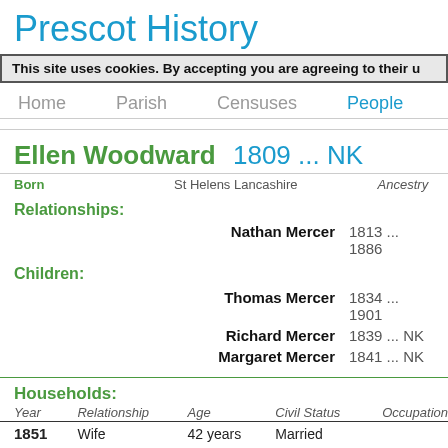Prescot History
This site uses cookies. By accepting you are agreeing to their us
Home   Parish   Censuses   People
Ellen Woodward  1809 ... NK
| Born | St Helens Lancashire | Ancestry |
| --- | --- | --- |
Relationships:
Nathan Mercer  1813 ... 1886
Children:
Thomas Mercer  1834 ... 1901
Richard Mercer  1839 ... NK
Margaret Mercer  1841 ... NK
Households:
| Year | Relationship | Age | Civil Status | Occupation |
| --- | --- | --- | --- | --- |
| 1851 | Wife | 42 years | Married |  |